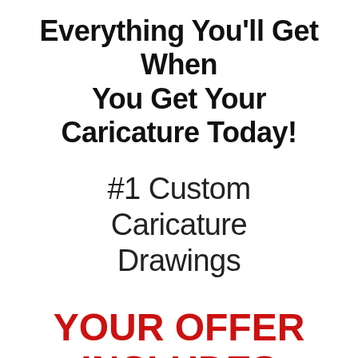Everything You'll Get When You Get Your Caricature Today!
#1 Custom Caricature Drawings
YOUR OFFER INCLUDES